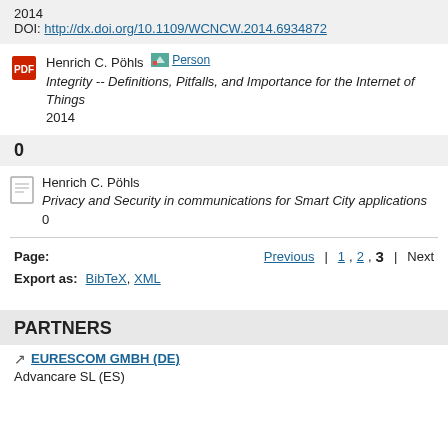2014
DOI: http://dx.doi.org/10.1109/WCNCW.2014.6934872
Henrich C. Pöhls [Person]
Integrity -- Definitions, Pitfalls, and Importance for the Internet of Things
2014
0
Henrich C. Pöhls
Privacy and Security in communications for Smart City applications
0
Page: Previous | 1, 2, 3 | Next
Export as: BibTeX, XML
PARTNERS
EURESCOM GMBH (DE)
Advancare SL (ES)